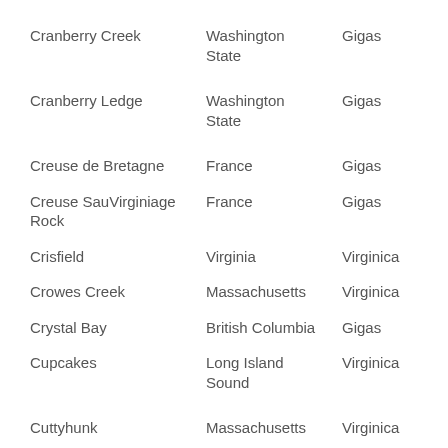| Cranberry Creek | Washington State | Gigas |
| Cranberry Ledge | Washington State | Gigas |
| Creuse de Bretagne | France | Gigas |
| Creuse SauVirginiage Rock | France | Gigas |
| Crisfield | Virginia | Virginica |
| Crowes Creek | Massachusetts | Virginica |
| Crystal Bay | British Columbia | Gigas |
| Cupcakes | Long Island Sound | Virginica |
| Cuttyhunk | Massachusetts | Virginica |